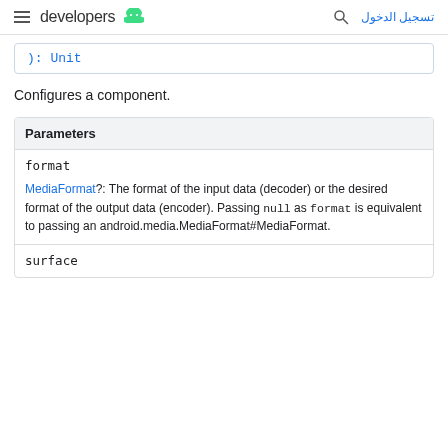developers [android logo] | search | تسجيل الدخول
): Unit
Configures a component.
| Parameters |
| --- |
| format | MediaFormat?: The format of the input data (decoder) or the desired format of the output data (encoder). Passing null as format is equivalent to passing an android.media.MediaFormat#MediaFormat. |
| surface |  |